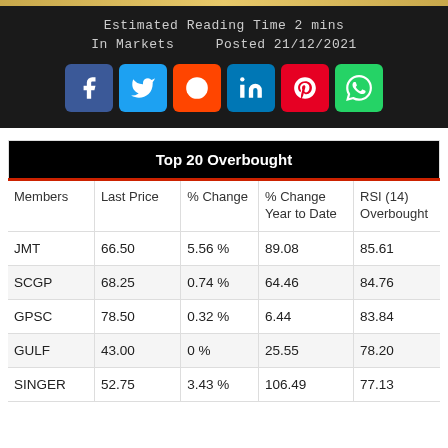Estimated Reading Time 2 mins
In Markets   Posted 21/12/2021
[Figure (infographic): Social media sharing icons: Facebook (blue), Twitter (light blue), Reddit (orange), LinkedIn (blue), Pinterest (red), WhatsApp (green)]
| Members | Last Price | % Change | % Change Year to Date | RSI (14) Overbought |
| --- | --- | --- | --- | --- |
| JMT | 66.50 | 5.56 % | 89.08 | 85.61 |
| SCGP | 68.25 | 0.74 % | 64.46 | 84.76 |
| GPSC | 78.50 | 0.32 % | 6.44 | 83.84 |
| GULF | 43.00 | 0 % | 25.55 | 78.20 |
| SINGER | 52.75 | 3.43 % | 106.49 | 77.13 |